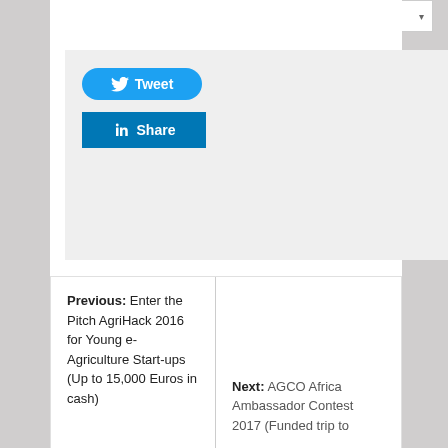[Figure (screenshot): Language selector dropdown showing UK flag and 'English' with dropdown arrow]
[Figure (screenshot): Tweet button (blue rounded) and LinkedIn Share button (blue square)]
Previous: Enter the Pitch AgriHack 2016 for Young e-Agriculture Start-ups (Up to 15,000 Euros in cash)
Next: AGCO Africa Ambassador Contest 2017 (Funded trip to